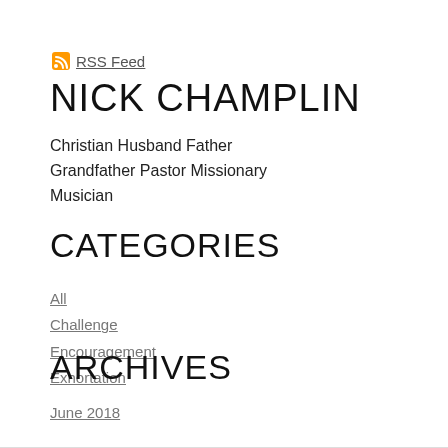RSS Feed
NICK CHAMPLIN
Christian Husband Father Grandfather Pastor Missionary Musician
CATEGORIES
All
Challenge
Encouragement
Exhortation
ARCHIVES
June 2018